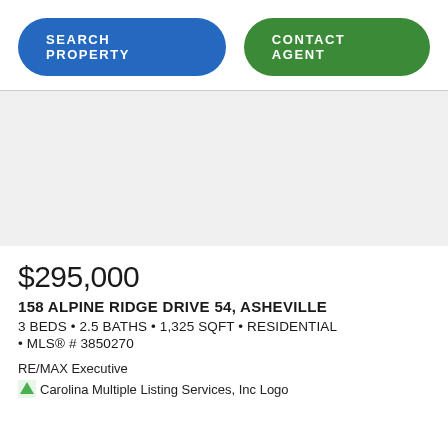[Figure (other): Blue pill-shaped button labeled SEARCH PROPERTY and green pill-shaped button labeled CONTACT AGENT]
$295,000
158 ALPINE RIDGE DRIVE 54, ASHEVILLE
3 BEDS • 2.5 BATHS • 1,325 SQFT • RESIDENTIAL • MLS® # 3850270
RE/MAX Executive
[Figure (logo): Carolina Multiple Listing Services, Inc Logo]